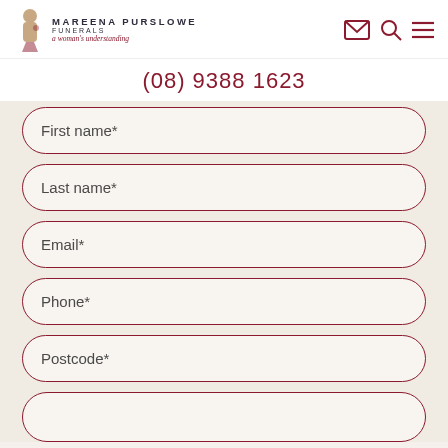Mareena Purslowe Funerals — a woman's understanding
(08) 9388 1623
First name*
Last name*
Email*
Phone*
Postcode*